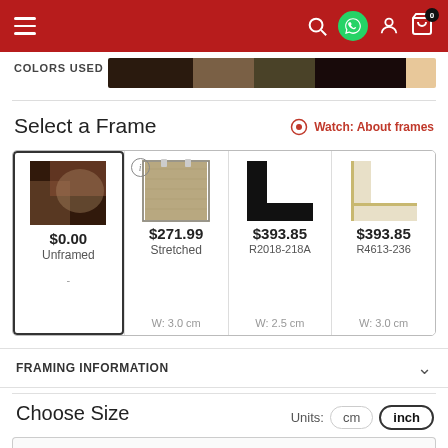Navigation header with hamburger menu, search, WhatsApp, user, and cart icons
COLORS USED
[Figure (illustration): Color palette strip showing dark brown, tan/brown, dark olive, very dark maroon, and light peach/cream swatches]
Select a Frame
Watch: About frames
[Figure (illustration): Four frame option thumbnails: Unframed ($0.00), Stretched ($271.99), R2018-218A ($393.85), R4613-236 ($393.85) with widths and prices]
FRAMING INFORMATION
Choose Size
Units: cm inch